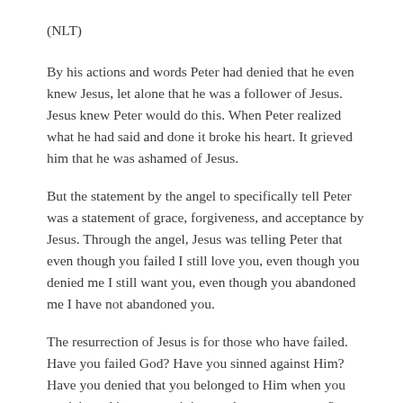(NLT)
By his actions and words Peter had denied that he even knew Jesus, let alone that he was a follower of Jesus. Jesus knew Peter would do this. When Peter realized what he had said and done it broke his heart. It grieved him that he was ashamed of Jesus.
But the statement by the angel to specifically tell Peter was a statement of grace, forgiveness, and acceptance by Jesus. Through the angel, Jesus was telling Peter that even though you failed I still love you, even though you denied me I still want you, even though you abandoned me I have not abandoned you.
The resurrection of Jesus is for those who have failed. Have you failed God? Have you sinned against Him? Have you denied that you belonged to Him when you participated in some activity you know was wrong?